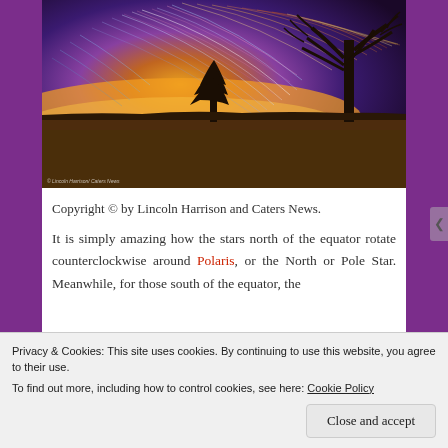[Figure (photo): Long-exposure star trail photograph showing circular star trails (counterclockwise) in a colorful sky above a field with two tree silhouettes. Sky transitions from deep purple/blue at top to bright orange/yellow near horizon. Photo credit: Lincoln Harrison / Caters News.]
Copyright © by Lincoln Harrison and Caters News.
It is simply amazing how the stars north of the equator rotate counterclockwise around Polaris, or the North or Pole Star. Meanwhile, for those south of the equator, the
Privacy & Cookies: This site uses cookies. By continuing to use this website, you agree to their use.
To find out more, including how to control cookies, see here: Cookie Policy